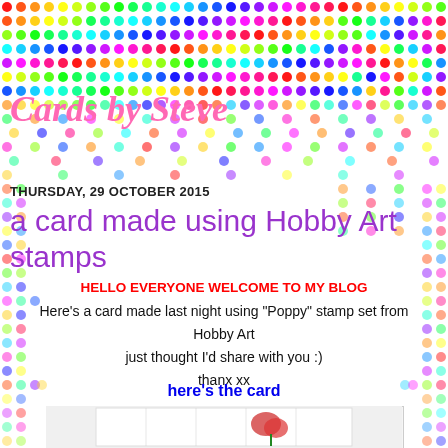[Figure (illustration): Rainbow polka dot background pattern covering the full page]
Cards by Steve
THURSDAY, 29 OCTOBER 2015
a card made using Hobby Art stamps
HELLO EVERYONE WELCOME TO MY BLOG
Here's a card made last night using "Poppy" stamp set from Hobby Art
just thought I'd share with you :)
thanx xx
here's the card
[Figure (photo): A handmade pop-up card featuring a red poppy stamp from Hobby Art, shown open with the 3D flower visible]